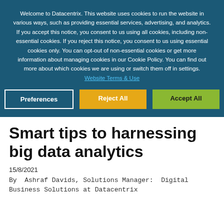Welcome to Datacentrix. This website uses cookies to run the website in various ways, such as providing essential services, advertising, and analytics. If you accept this notice, you consent to us using all cookies, including non-essential cookies. If you reject this notice, you consent to us using essential cookies only. You can opt-out of non-essential cookies or get more information about managing cookies in our Cookie Policy. You can find out more about which cookies we are using or switch them off in settings. Website Terms & Use
Preferences
Reject All
Accept All
Smart tips to harnessing big data analytics
15/8/2021
By Ashraf Davids, Solutions Manager: Digital Business Solutions at Datacentrix